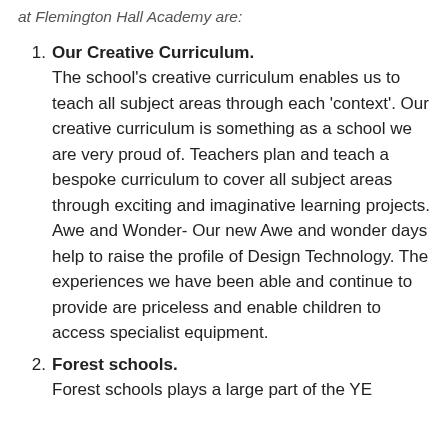at Flemington Hall Academy are:
Our Creative Curriculum. The school's creative curriculum enables us to teach all subject areas through each 'context'. Our creative curriculum is something as a school we are very proud of. Teachers plan and teach a bespoke curriculum to cover all subject areas through exciting and imaginative learning projects. Awe and Wonder- Our new Awe and wonder days help to raise the profile of Design Technology. The experiences we have been able and continue to provide are priceless and enable children to access specialist equipment.
Forest schools. Forest schools plays a large part of the YE...